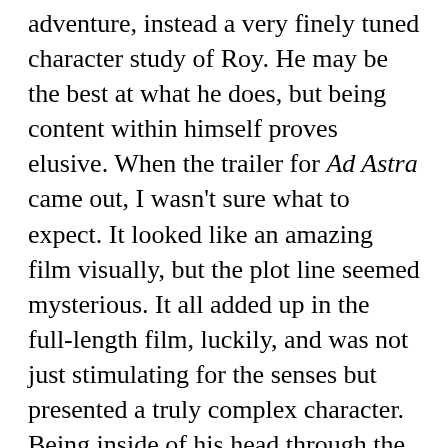adventure, instead a very finely tuned character study of Roy. He may be the best at what he does, but being content within himself proves elusive. When the trailer for Ad Astra came out, I wasn't sure what to expect. It looked like an amazing film visually, but the plot line seemed mysterious. It all added up in the full-length film, luckily, and was not just stimulating for the senses but presented a truly complex character. Being inside of his head through the narration is so fascinating, and the internal struggle with every choice is intense. It's technical and ambitious, and director Gray has a knack for both grand-scale visuals and small human moments. I am wholly impressed by Ad Astra and encourage those with even an inkling of interest to catch it on the big screen. It really is impressive. ^